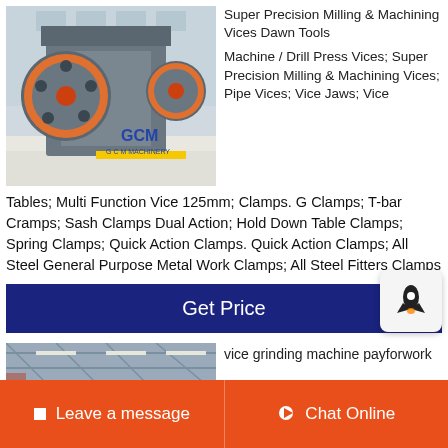[Figure (photo): Industrial jaw crusher machine with GCM Machinery logo, grey metal body, large flywheel with orange ring, in a factory setting with white gravel on ground]
Super Precision Milling & Machining Vices Dawn Tools
Machine / Drill Press Vices; Super Precision Milling & Machining Vices; Pipe Vices; Vice Jaws; Vice Tables; Multi Function Vice 125mm; Clamps. G Clamps; T-bar Cramps; Sash Clamps Dual Action; Hold Down Table Clamps; Spring Clamps; Quick Action Clamps. Quick Action Clamps; All Steel General Purpose Metal Work Clamps; All Steel Fitters Clamps
Get Price
[Figure (photo): Interior of a large industrial factory/warehouse building with steel roof structure and fluorescent lighting]
vice grinding machine payforwork